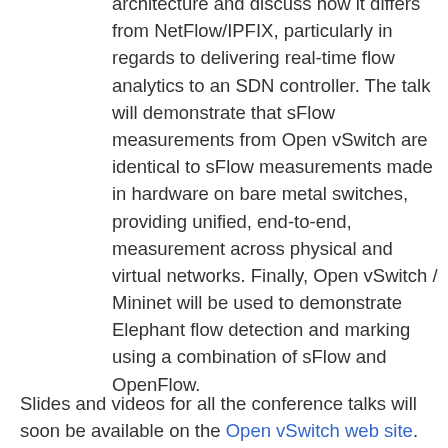architecture and discuss how it differs from NetFlow/IPFIX, particularly in regards to delivering real-time flow analytics to an SDN controller. The talk will demonstrate that sFlow measurements from Open vSwitch are identical to sFlow measurements made in hardware on bare metal switches, providing unified, end-to-end, measurement across physical and virtual networks. Finally, Open vSwitch / Mininet will be used to demonstrate Elephant flow detection and marking using a combination of sFlow and OpenFlow.
Slides and videos for all the conference talks will soon be available on the Open vSwitch web site.
Peter at 7:00 PM    No comments:
Share
Tuesday, November 4, 2014
SDN fabric controllers